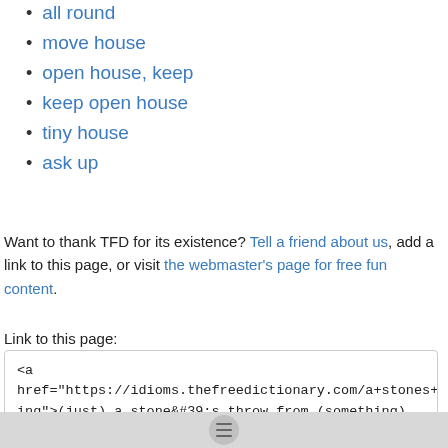all round
move house
open house, keep
keep open house
tiny house
ask up
Want to thank TFD for its existence? Tell a friend about us, add a link to this page, or visit the webmaster's page for free fun content.
Link to this page:
<a href="https://idioms.thefreedictionary.com/a+stones+throw+from+something">(just) a stone&#39;s throw from (something)</a>